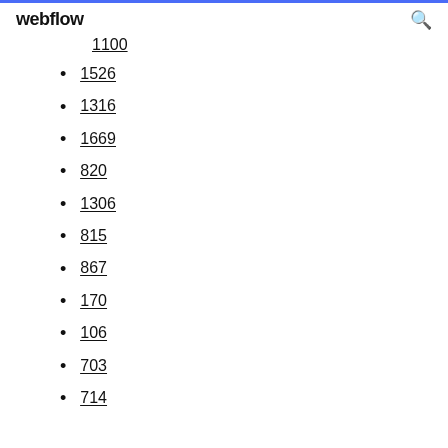webflow
1100 (partial)
1526
1316
1669
820
1306
815
867
170
106
703
714